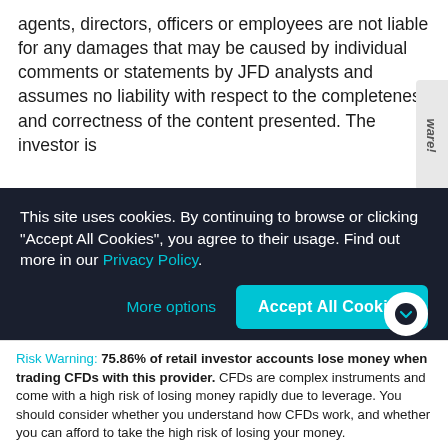agents, directors, officers or employees are not liable for any damages that may be caused by individual comments or statements by JFD analysts and assumes no liability with respect to the completeness and correctness of the content presented. The investor is
This site uses cookies. By continuing to browse or clicking "Accept All Cookies", you agree to their usage. Find out more in our Privacy Policy.
More options
Accept All Cookies
Risk Warning: 75.86% of retail investor accounts lose money when trading CFDs with this provider. CFDs are complex instruments and come with a high risk of losing money rapidly due to leverage. You should consider whether you understand how CFDs work, and whether you can afford to take the high risk of losing your money.